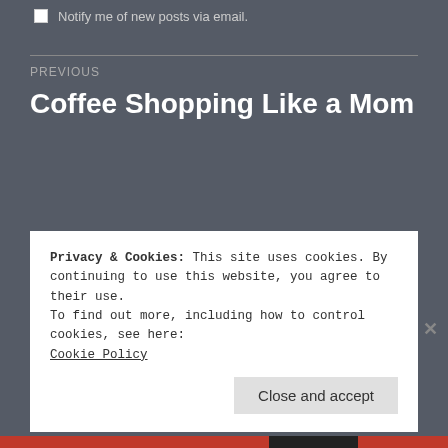Notify me of new posts via email.
PREVIOUS
Coffee Shopping Like a Mom
NEXT
Because I'm Four
Privacy & Cookies: This site uses cookies. By continuing to use this website, you agree to their use.
To find out more, including how to control cookies, see here: Cookie Policy
Close and accept